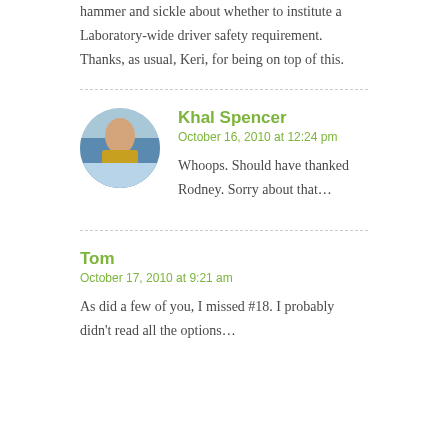hammer and sickle about whether to institute a Laboratory-wide driver safety requirement. Thanks, as usual, Keri, for being on top of this.
Khal Spencer
October 16, 2010 at 12:24 pm
Whoops. Should have thanked Rodney. Sorry about that…
Tom
October 17, 2010 at 9:21 am
As did a few of you, I missed #18. I probably didn't read all the options…